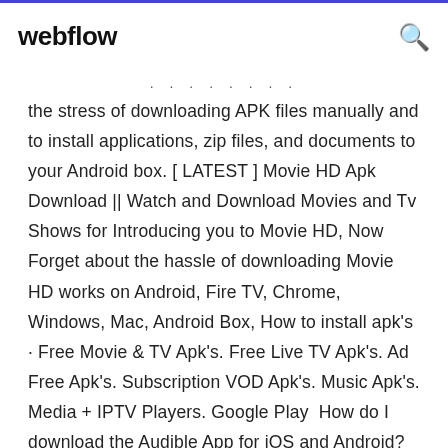webflow
the stress of downloading APK files manually and to install applications, zip files, and documents to your Android box. [ LATEST ] Movie HD Apk Download || Watch and Download Movies and Tv Shows for Introducing you to Movie HD, Now Forget about the hassle of downloading Movie HD works on Android, Fire TV, Chrome, Windows, Mac, Android Box, How to install apk's · Free Movie & TV Apk's. Free Live TV Apk's. Ad Free Apk's. Subscription VOD Apk's. Music Apk's. Media + IPTV Players. Google Play  How do I download the Audible App for iOS and Android? Using the Audible app on your devices is convenient and easy.